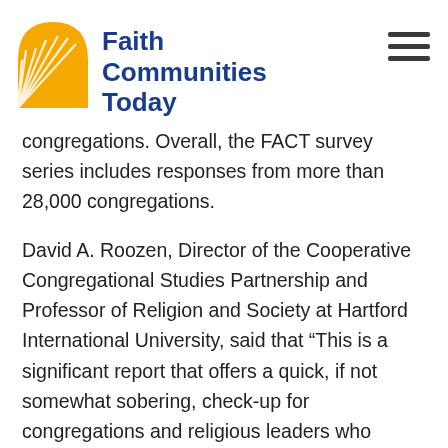Faith Communities Today
congregations. Overall, the FACT survey series includes responses from more than 28,000 congregations.
David A. Roozen, Director of the Cooperative Congregational Studies Partnership and Professor of Religion and Society at Hartford International University, said that “This is a significant report that offers a quick, if not somewhat sobering, check-up for congregations and religious leaders who support congregations. It presents many of the most significant mechanisms that encourage vitality and growth, and also several of the most